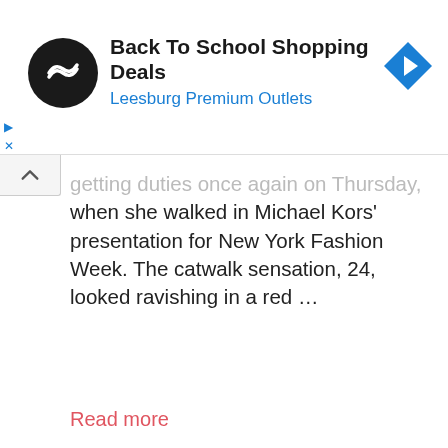[Figure (screenshot): Advertisement banner for Back To School Shopping Deals at Leesburg Premium Outlets, featuring a circular black logo with a double arrow icon and a blue diamond-shaped navigation icon on the right.]
getting duties once again on Thursday, when she walked in Michael Kors' presentation for New York Fashion Week. The catwalk sensation, 24, looked ravishing in a red ...
Read more
News
Bella, Bella Hadid, dailymail, Hadid, Kors, Michael, minidress, NYFW, ravishing, red, show, tvshowbiz
Ashley Graham struts her stuff in figure-hugging black dress at